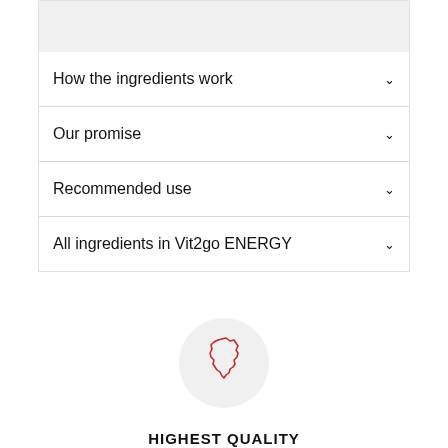[Figure (other): Grey rectangular box, partially visible at top of page]
How the ingredients work
Our promise
Recommended use
All ingredients in Vit2go ENERGY
[Figure (illustration): Circular grey badge with red outline of Germany map icon]
HIGHEST QUALITY
Developed and manufactured in Germany